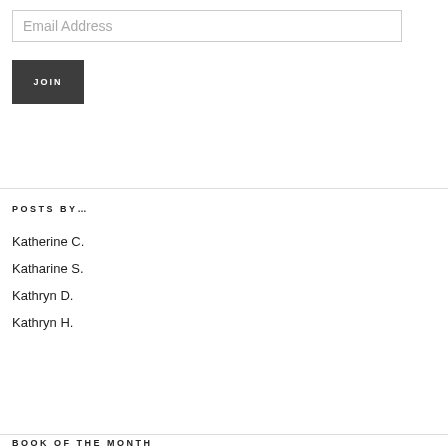Email Address
JOIN
POSTS BY…
Katherine C.
Katharine S.
Kathryn D.
Kathryn H.
BOOK OF THE MONTH